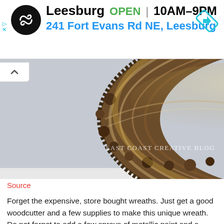[Figure (infographic): Advertisement banner with black circular logo containing infinite/loop symbol, text reading 'Leesburg OPEN | 10AM-9PM' and '241 Fort Evans Rd NE, Leesburg', and a blue diamond navigation icon on the right. Small play and X icons on the left edge.]
[Figure (photo): A circular wooden wreath made from a cross-section slice of a tree trunk with a hole in the center. The wood has natural grain and bark texture. Watermark reads 'East Coast Creative Blog'. Shown against a light gray wall.]
Source
Forget the expensive, store bought wreaths. Just get a good woodcutter and a few supplies to make this unique wreath. Do not forget to add a few sprays of metallic paint and a golden ribbon. A neon ribbon would look stunning too!